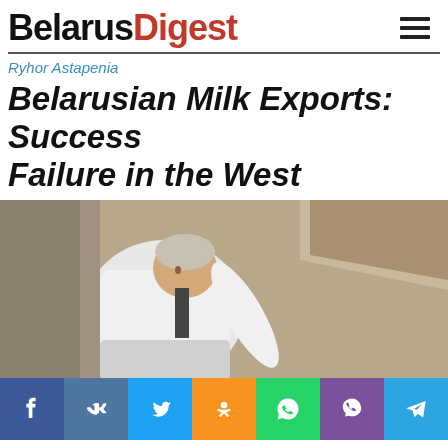BelarusDigest
Ryhor Astapenia
Belarusian Milk Exports: Success in the East, Failure in the West
[Figure (photo): A man in a white coat bending forward, photographed outdoors near a building structure]
[Figure (infographic): Social media sharing bar with icons: Facebook, VK, Twitter, Odnoklassniki, WhatsApp, Viber, Telegram]